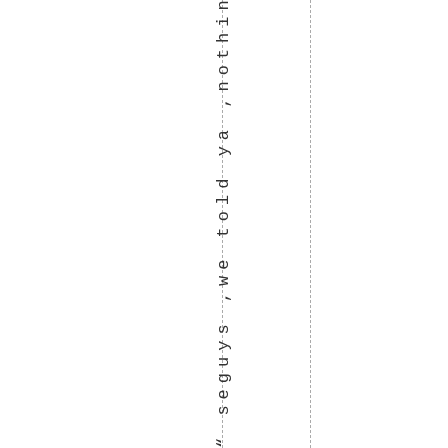" seguys ,we told ya ,nothing good c